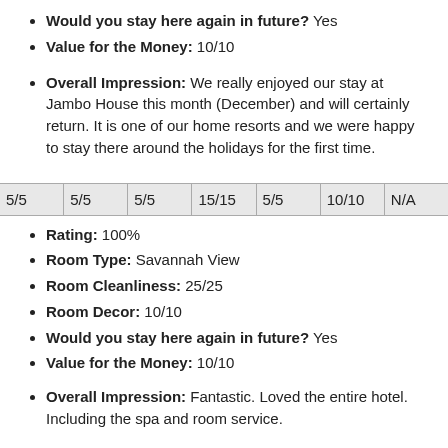Would you stay here again in future? Yes
Value for the Money: 10/10
Overall Impression: We really enjoyed our stay at Jambo House this month (December) and will certainly return. It is one of our home resorts and we were happy to stay there around the holidays for the first time.
| 5/5 | 5/5 | 5/5 | 15/15 | 5/5 | 10/10 | N/A |
Rating: 100%
Room Type: Savannah View
Room Cleanliness: 25/25
Room Decor: 10/10
Would you stay here again in future? Yes
Value for the Money: 10/10
Overall Impression: Fantastic. Loved the entire hotel. Including the spa and room service.